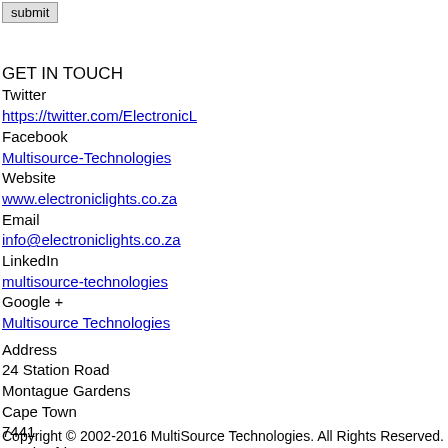[Figure (screenshot): Submit button UI element at top of page]
GET IN TOUCH
Twitter
https://twitter.com/ElectronicL
Facebook
Multisource-Technologies
Website
www.electroniclights.co.za
Email
info@electroniclights.co.za
LinkedIn
multisource-technologies
Google +
Multisource Technologies
Address
24 Station Road
Montague Gardens
Cape Town
7441
South Africa
Tel
+27 21 552 3394
Copyright © 2002-2016 MultiSource Technologies. All Rights Reserved.